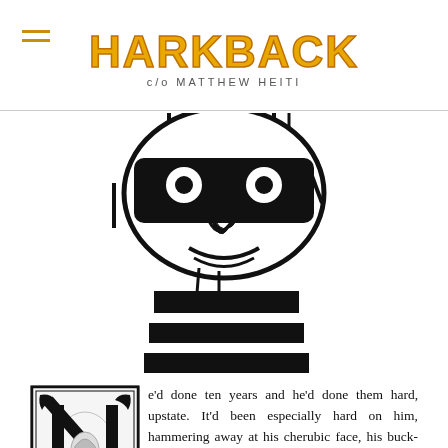HARKBACK c/o MATTHEW HEITI
[Figure (illustration): Black and white ink illustration of a stylized face/head with dark sunglasses-like eyes with circular dots, dripping ink, a nose, and a striped rectangular body/torso below, resembling a prisoner or robot figure]
He'd done ten years and he'd done them hard, upstate. It'd been especially hard on him, hammering away at his cherubic face, his buck-toothed smiled. He was now just a collection of right angles. They gave him a plastic bag with his clothes. The brim of his hat was all bent out of shape. There was no one there to meet him.
They dropped him off at the bus station on the outskirts and stuck a pamphlet in his hand. He wandered until he found a